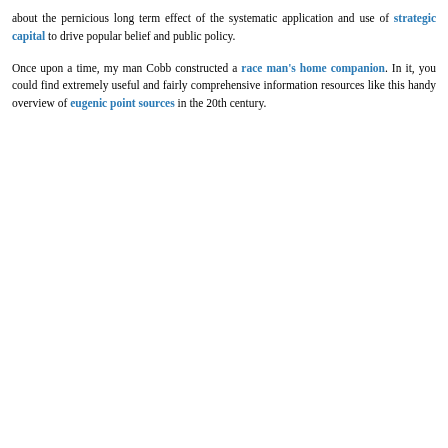about the pernicious long term effect of the systematic application and use of strategic capital to drive popular belief and public policy.
Once upon a time, my man Cobb constructed a race man's home companion. In it, you could find extremely useful and fairly comprehensive information resources like this handy overview of eugenic point sources in the 20th century.